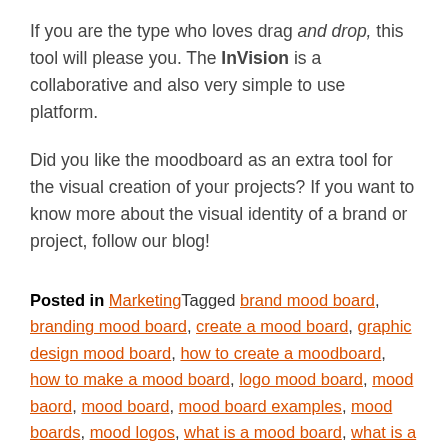If you are the type who loves drag and drop, this tool will please you. The InVision is a collaborative and also very simple to use platform.
Did you like the moodboard as an extra tool for the visual creation of your projects? If you want to know more about the visual identity of a brand or project, follow our blog!
Posted in MarketingTagged brand mood board, branding mood board, create a mood board, graphic design mood board, how to create a moodboard, how to make a mood board, logo mood board, mood baord, mood board, mood board examples, mood boards, mood logos, what is a mood board, what is a moodboard, whats a mood board